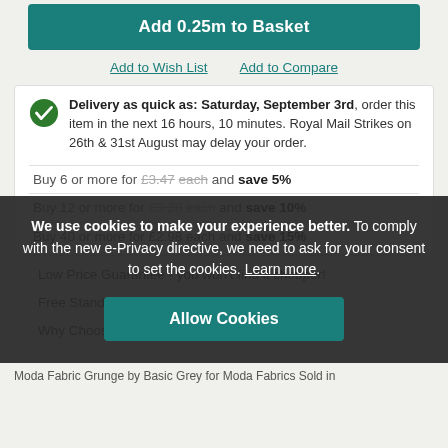Add 0.25m to Basket
Add to Wish List   Add to Compare
Delivery as quick as: Saturday, September 3rd, order this item in the next 16 hours, 10 minutes. Royal Mail Strikes on 26th & 31st August may delay your order.
Buy 6 or more for ... save ...%
Buy 12 or more for ... save 10%
Buy 40 or more for £2.98 each and save 15%
Low Price Guarantee - you won't find it cheaper!
Free Standard Delivery Over £99
Why Choose us? Click here to meet the team
Moda Fabric Grunge by Basic Grey for Moda Fabrics Sold in
We use cookies to make your experience better. To comply with the new e-Privacy directive, we need to ask for your consent to set the cookies. Learn more.
Allow Cookies